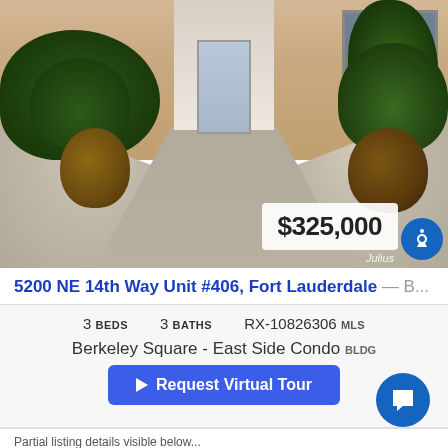[Figure (photo): Exterior photo of condo entrance with landscaping, stone path, potted plants, and gravel rock garden. Price tag overlay showing $325,000.]
5200 NE 14th Way Unit #406, Fort Lauderdale — B...
3 BEDS   3 BATHS   RX-10826306 MLS
Berkeley Square - East Side Condo BLDG
Request Virtual Tour